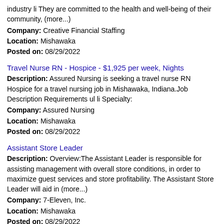industry li They are committed to the health and well-being of their community, (more...)
Company: Creative Financial Staffing
Location: Mishawaka
Posted on: 08/29/2022
Travel Nurse RN - Hospice - $1,925 per week, Nights
Description: Assured Nursing is seeking a travel nurse RN Hospice for a travel nursing job in Mishawaka, Indiana.Job Description Requirements ul li Specialty:
Company: Assured Nursing
Location: Mishawaka
Posted on: 08/29/2022
Assistant Store Leader
Description: Overview:The Assistant Leader is responsible for assisting management with overall store conditions, in order to maximize guest services and store profitability. The Assistant Store Leader will aid in (more...)
Company: 7-Eleven, Inc.
Location: Mishawaka
Posted on: 08/29/2022
Part-Time Endodontist DDS / DMD